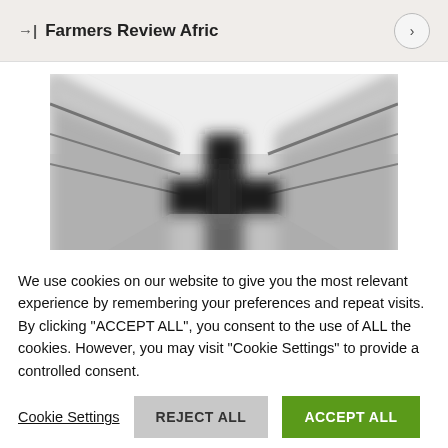→| Farmers Review Afric
[Figure (photo): Blurred black and white aerial or corridor perspective photograph, showing a dark cross or plus-shaped object in the center with reflective walls or fencing on either side converging toward the center.]
We use cookies on our website to give you the most relevant experience by remembering your preferences and repeat visits. By clicking "ACCEPT ALL", you consent to the use of ALL the cookies. However, you may visit "Cookie Settings" to provide a controlled consent.
Cookie Settings   REJECT ALL   ACCEPT ALL